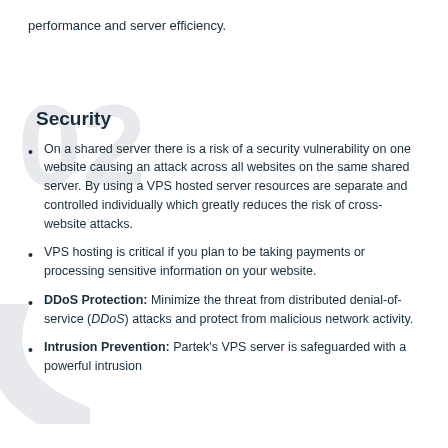performance and server efficiency.
Security
On a shared server there is a risk of a security vulnerability on one website causing an attack across all websites on the same shared server. By using a VPS hosted server resources are separate and controlled individually which greatly reduces the risk of cross-website attacks.
VPS hosting is critical if you plan to be taking payments or processing sensitive information on your website.
DDoS Protection: Minimize the threat from distributed denial-of-service (DDoS) attacks and protect from malicious network activity.
Intrusion Prevention: Partek's VPS server is safeguarded with a powerful intrusion